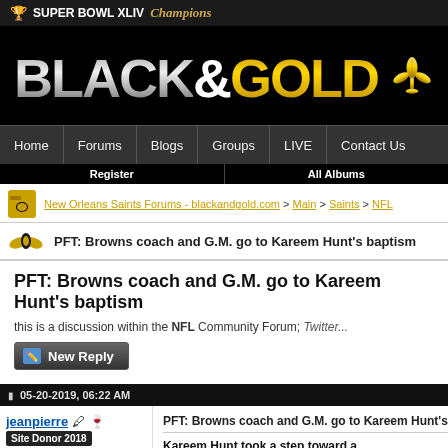[Figure (screenshot): Black and Gold Saints forum site header with Super Bowl XLIV Champions text and BLACK&GOLD logo with fleur-de-lis]
SUPER BOWL XLIV Champions
Home | Forums | Blogs | Groups | LIVE | Contact Us
Register | All Albums
New Orleans Saints Forums - blackandgold.com > Main > Saints > NFL
PFT: Browns coach and G.M. go to Kareem Hunt's baptism
this is a discussion within the NFL Community Forum; Twitter...
05-20-2019, 06:22 AM
jeanpierre
Site Donor 2018
Join Date: Mar 2008
Location: Thibodaux
Posts: 43,543
PFT: Browns coach and G.M. go to Kareem Hunt's b...
Kareem Hunt took a step toward a...
https://t.co/cWO1t3gOs7